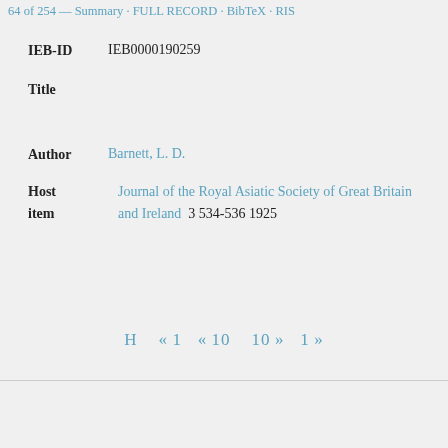64 of 254 — Summary · FULL RECORD · BibTeX · RIS
IEB-ID   IEB0000190259
Title
Author   Barnett, L. D.
Host item   Journal of the Royal Asiatic Society of Great Britain and Ireland  3 534-536 1925
H  « 1  « 10   10 »  1 »